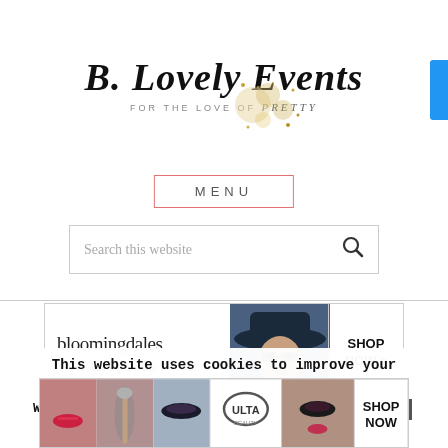[Figure (logo): B. Lovely Events logo — cursive script text with gold glitter sparkle decoration and subtitle 'FOR THE LOVE OF Pretty']
MENU
[Figure (screenshot): Search bar with placeholder text 'Search this website' and magnifying glass icon]
[Figure (photo): Bloomingdales advertisement banner: bloomingdales logo, 'View Today's Top Deals!' text, woman in hat photo, 'SHOP NOW >' button]
[Figure (photo): Product advertisement showing retractable badge holders (black, round) and product packaging]
This website uses cookies to improve your experience.
We'll assume you're ok with this, but you can opt-out if
[Figure (photo): Ulta Beauty advertisement banner showing makeup/beauty product photos and faces with Ulta logo and SHOP NOW button]